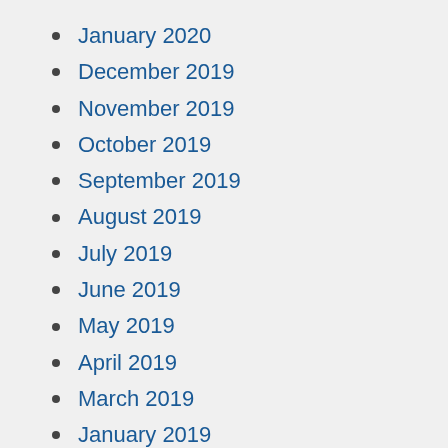January 2020
December 2019
November 2019
October 2019
September 2019
August 2019
July 2019
June 2019
May 2019
April 2019
March 2019
January 2019
December 2018
November 2018
October 2018
September 2018